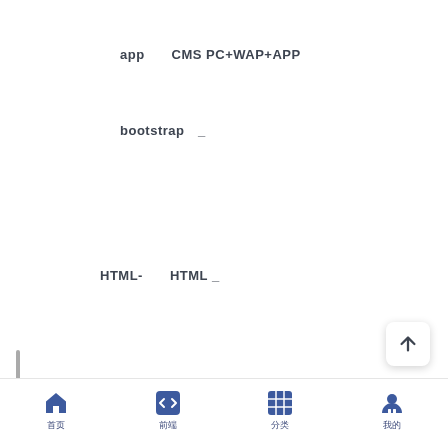app    CMS PC+WAP+APP
bootstrap  _
HTML-      HTML _
[Figure (screenshot): Mobile app bottom navigation bar with four icons: home, code/brackets, grid/table, and person/profile, each with a Chinese character label below]
[Figure (other): Scroll-to-top button (upward arrow) on the right side]